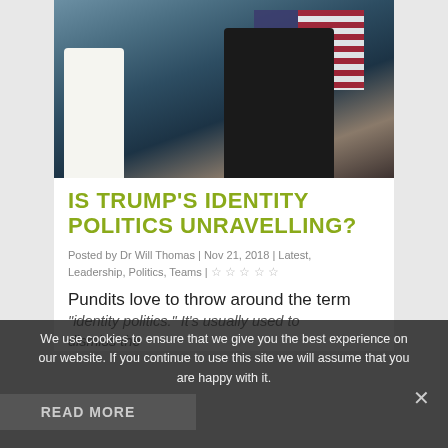[Figure (photo): A man in a dark suit with hand on chest in front of an American flag, with a naval officer in white uniform to the left.]
IS TRUMP'S IDENTITY POLITICS UNRAVELLING?
Posted by Dr Will Thomas | Nov 21, 2018 | Latest, Leadership, Politics, Teams | ☆☆☆☆☆
Pundits love to throw around the term
"identity politics." It's usually used to diminish the
We use cookies to ensure that we give you the best experience on our website. If you continue to use this site we will assume that you are happy with it.
READ MORE